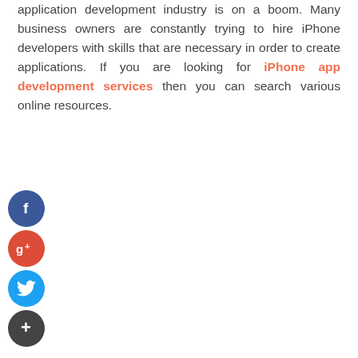application development industry is on a boom. Many business owners are constantly trying to hire iPhone developers with skills that are necessary in order to create applications. If you are looking for iPhone app development services then you can search various online resources.
[Figure (infographic): Social media share icons: Facebook (dark blue circle with 'f'), Google+ (red circle with 'g+'), Twitter (light blue circle with bird), and a dark circle with '+' sign, arranged vertically]